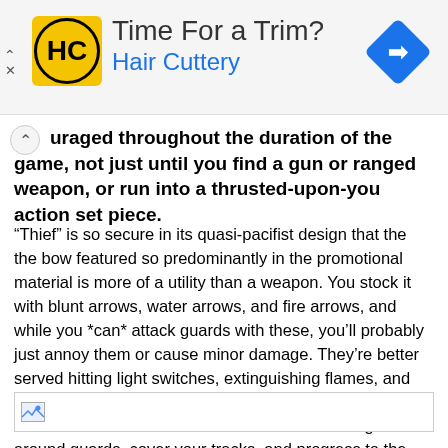[Figure (other): Advertisement banner for Hair Cuttery. Shows HC logo in yellow circle, headline 'Time For a Trim?' and brand name 'Hair Cuttery' in blue, with a blue navigation/directions diamond icon on the right. Close/collapse controls on the left.]
uraged throughout the duration of the game, not just until you find a gun or ranged weapon, or run into a thrusted-upon-you action set piece.
“Thief” is so secure in its quasi-pacifist design that the the bow featured so predominantly in the promotional material is more of a utility than a weapon. You stock it with blunt arrows, water arrows, and fire arrows, and while you *can* attack guards with these, you’ll probably just annoy them or cause minor damage. They’re better served hitting light switches, extinguishing flames, and igniting flammable materials as a distraction. The whole idea is to use these tools on the environment to get around guards, cover your tracks, and progress to the objective as silently as possible, but a whisper in the shadows.
[Figure (photo): Broken/loading image placeholder at bottom of article]